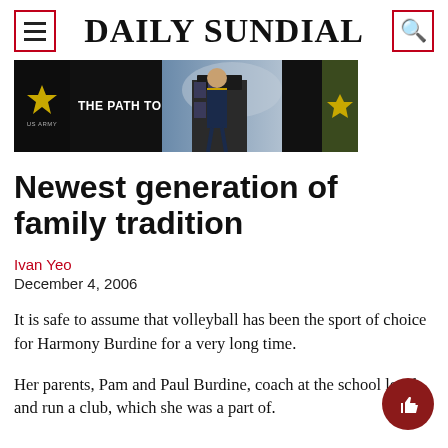DAILY SUNDIAL
[Figure (infographic): U.S. Army advertisement banner: star logo on black background, text 'THE PATH TO LEADERSHIP.' with soldier in uniform, Army badge on right]
Newest generation of family tradition
Ivan Yeo
December 4, 2006
It is safe to assume that volleyball has been the sport of choice for Harmony Burdine for a very long time.
Her parents, Pam and Paul Burdine, coach at the school level and run a club, which she was a part of.